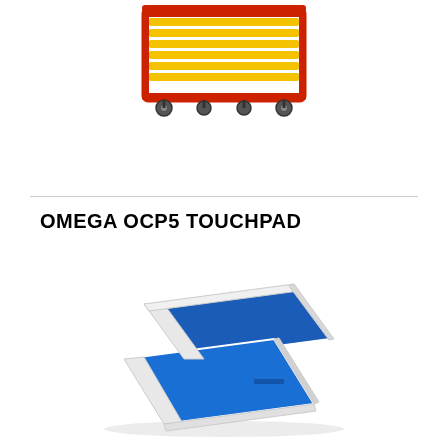[Figure (photo): A yellow and red wheeled cart or rack with multiple yellow slats/boards stacked on it, sitting on casters.]
OMEGA OCP5 TOUCHPAD
[Figure (photo): A blue swim touchpad (Omega OCP5) laid flat at an angle, showing two blue rectangular panels with white edges/frame.]